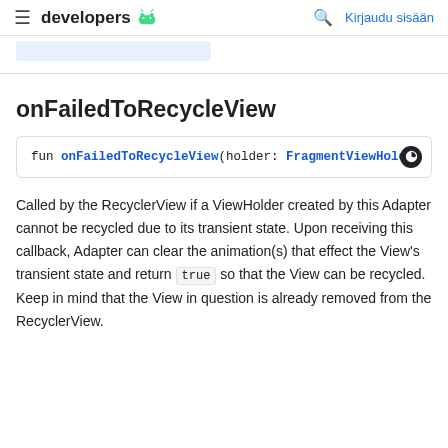developers  Kirjaudu sisään
onFailedToRecycleView
fun onFailedToRecycleView(holder: FragmentViewHolder
Called by the RecyclerView if a ViewHolder created by this Adapter cannot be recycled due to its transient state. Upon receiving this callback, Adapter can clear the animation(s) that effect the View's transient state and return true so that the View can be recycled. Keep in mind that the View in question is already removed from the RecyclerView.